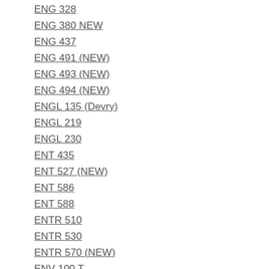ENG 328
ENG 380 NEW
ENG 437
ENG 491 (NEW)
ENG 493 (NEW)
ENG 494 (NEW)
ENGL 135 (Devry)
ENGL 219
ENGL 230
ENT 435
ENT 527 (NEW)
ENT 586
ENT 588
ENTR 510
ENTR 530
ENTR 570 (NEW)
ENV 100 T
ENV 310
ENV 315 (NEW)